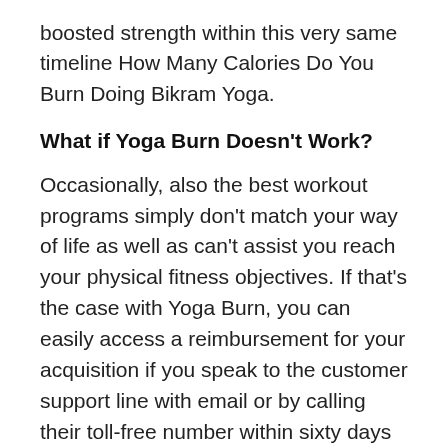boosted strength within this very same timeline How Many Calories Do You Burn Doing Bikram Yoga.
What if Yoga Burn Doesn't Work?
Occasionally, also the best workout programs simply don't match your way of life as well as can't assist you reach your physical fitness objectives. If that's the case with Yoga Burn, you can easily access a reimbursement for your acquisition if you speak to the customer support line with email or by calling their toll-free number within sixty days after your purchase. A refund will be provided to you within forty-eight hrs, and also you can advance your look for the perfect physical fitness